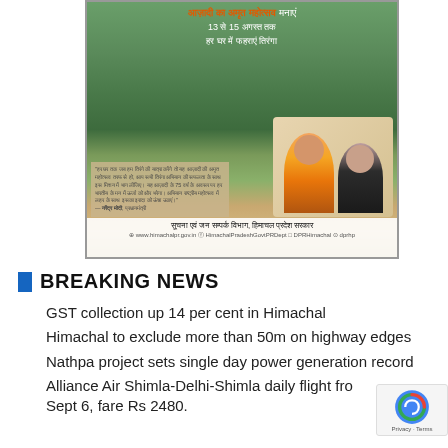[Figure (infographic): Himachal Pradesh government advertisement for Azadi Ka Amrit Mahotsav (Independence Day celebration Aug 13-15), with Hindi text, scenic hillside photo of Shimla, portrait of PM Modi and HP Chief Minister, and government department footer with social media handles.]
BREAKING NEWS
GST collection up 14 per cent in Himachal
Himachal to exclude more than 50m on highway edges
Nathpa project sets single day power generation record
Alliance Air Shimla-Delhi-Shimla daily flight from Sept 6, fare Rs 2480.